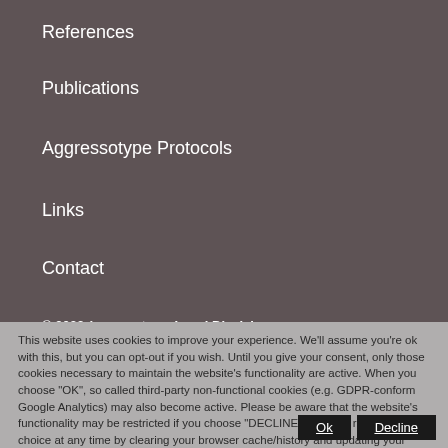References
Publications
Aggressotype Protocols
Links
Contact
© 2022 Aggressotype   Legal Disclaimer
This website uses cookies to improve your experience. We'll assume you're ok with this, but you can opt-out if you wish. Until you give your consent, only those cookies necessary to maintain the website's functionality are active. When you choose "OK", so called third-party non-functional cookies (e.g. GDPR-conform Google Analytics) may also become active. Please be aware that the website's functionality may be restricted if you choose "DECLINE". You can revoke your choice at any time by clearing your browser cache/history and updating your selection. Please also view our privacy policy.